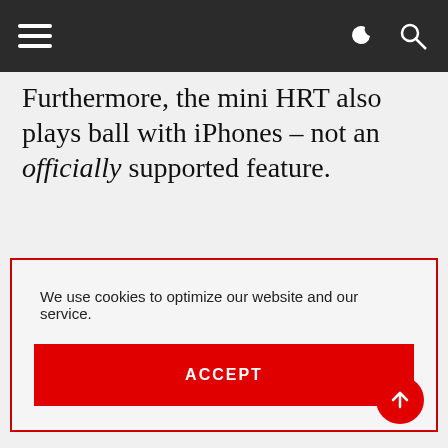Navigation bar with hamburger menu, dark mode toggle, and search icon
Furthermore, the mini HRT also plays ball with iPhones – not an officially supported feature.
The microStreamer has a smart, brainy and crisp
[Figure (screenshot): Cookie consent modal overlay with red border on a light grey background. Contains text 'We use cookies to optimize our website and our service.' and a red ACCEPT button.]
inconceivable a couple of years ago.